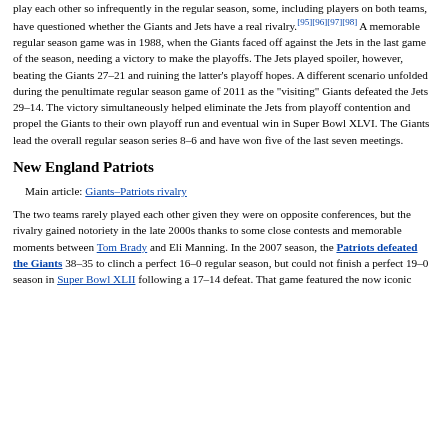play each other so infrequently in the regular season, some, including players on both teams, have questioned whether the Giants and Jets have a real rivalry.[95][96][97][98] A memorable regular season game was in 1988, when the Giants faced off against the Jets in the last game of the season, needing a victory to make the playoffs. The Jets played spoiler, however, beating the Giants 27–21 and ruining the latter's playoff hopes. A different scenario unfolded during the penultimate regular season game of 2011 as the "visiting" Giants defeated the Jets 29–14. The victory simultaneously helped eliminate the Jets from playoff contention and propel the Giants to their own playoff run and eventual win in Super Bowl XLVI. The Giants lead the overall regular season series 8–6 and have won five of the last seven meetings.
New England Patriots
Main article: Giants–Patriots rivalry
The two teams rarely played each other given they were on opposite conferences, but the rivalry gained notoriety in the late 2000s thanks to some close contests and memorable moments between Tom Brady and Eli Manning. In the 2007 season, the Patriots defeated the Giants 38–35 to clinch a perfect 16–0 regular season, but could not finish a perfect 19–0 season in Super Bowl XLII following a 17–14 defeat. That game featured the now iconic